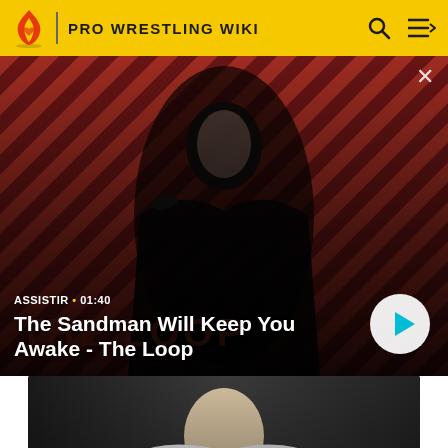PRO WRESTLING WIKI
[Figure (screenshot): Video thumbnail showing a dark-themed promotional image with a man in black clothing with a raven on his shoulder, against a red and dark diagonal striped background. Text 'THE LOOP' visible. Duration shows 01:40. Title: The Sandman Will Keep You Awake - The Loop. Play button visible bottom right.]
ASSISTIR • 01:40
The Sandman Will Keep You Awake - The Loop
[Figure (photo): Photo of Taynara Conti wearing a white KORRA-branded jacket/gi, appearing to open it. Background is dark gray.]
Galeria de Taynara Conti
Wiki Pro Wrestling...